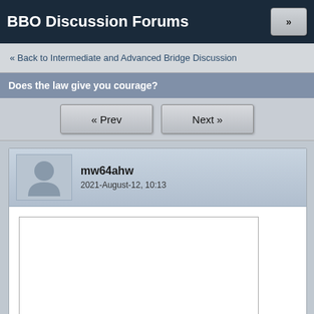BBO Discussion Forums
« Back to Intermediate and Advanced Bridge Discussion
Does the law give you courage?
« Prev
Next »
mw64ahw
2021-August-12, 10:13